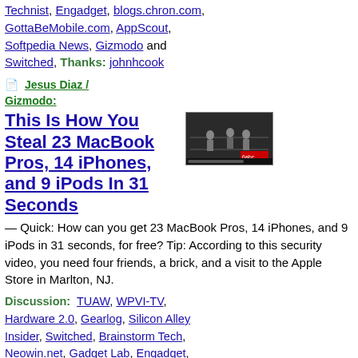Technist, Engadget, blogs.chron.com, GottaBeMobile.com, AppScout, Softpedia News, Gizmodo and Switched, Thanks: johnhcook
Jesus Diaz / Gizmodo: This Is How You Steal 23 MacBook Pros, 14 iPhones, and 9 iPods In 31 Seconds — Quick: How can you get 23 MacBook Pros, 14 iPhones, and 9 iPods in 31 seconds, for free? Tip: According to this security video, you need four friends, a brick, and a visit to the Apple Store in Marlton, NJ.
[Figure (screenshot): Security camera footage thumbnail showing people in an Apple Store]
Discussion: TUAW, WPVI-TV, Hardware 2.0, Gearlog, Silicon Alley Insider, Switched, Brainstorm Tech, Neowin.net, Gadget Lab, Engadget, iPhone Savior, MacRumors Page 2, 9 to 5 Mac, The Next Web Blog and The Apple Core
Michael Arrington /